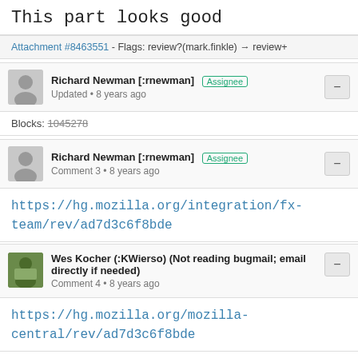This part looks good
Attachment #8463551 - Flags: review?(mark.finkle) → review+
Richard Newman [:rnewman] Assignee
Updated • 8 years ago
Blocks: 1045278
Richard Newman [:rnewman] Assignee
Comment 3 • 8 years ago
https://hg.mozilla.org/integration/fx-team/rev/ad7d3c6f8bde
Wes Kocher (:KWierso) (Not reading bugmail; email directly if needed)
Comment 4 • 8 years ago
https://hg.mozilla.org/mozilla-central/rev/ad7d3c6f8bde